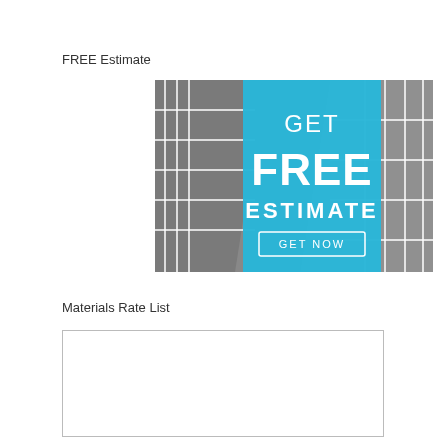FREE Estimate
[Figure (infographic): Promotional banner over a grayscale parking lot background. A bright blue vertical banner in the center reads 'GET' in medium white text, 'FREE' in large bold white text, 'ESTIMATE' in medium bold white text, and a white outlined button at the bottom reading 'GET NOW'.]
Materials Rate List